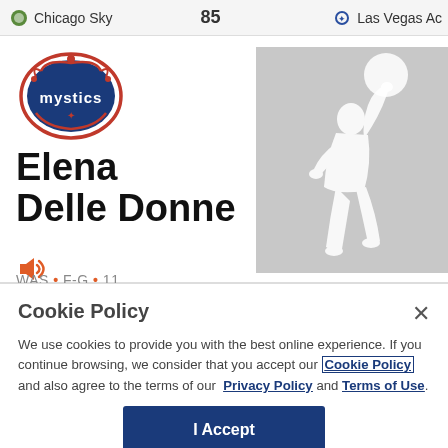Chicago Sky  85  Las Vegas Ac
[Figure (logo): Washington Mystics team logo - circular badge with 'mystics' text in blue and red decorative frame]
Elena Delle Donne
[Figure (photo): WNBA player silhouette placeholder image - white basketball player figure on gray background]
WAS • F-G • 11
Cookie Policy
We use cookies to provide you with the best online experience. If you continue browsing, we consider that you accept our Cookie Policy and also agree to the terms of our Privacy Policy and Terms of Use.
I Accept